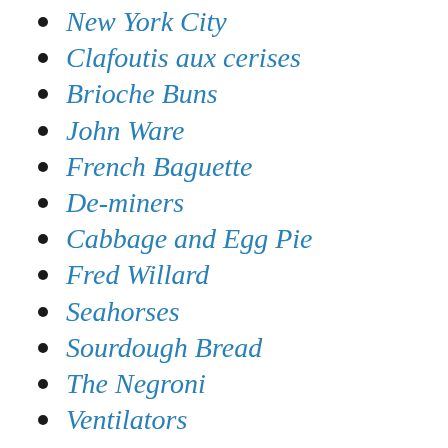New York City
Clafoutis aux cerises
Brioche Buns
John Ware
French Baguette
De-miners
Cabbage and Egg Pie
Fred Willard
Seahorses
Sourdough Bread
The Negroni
Ventilators